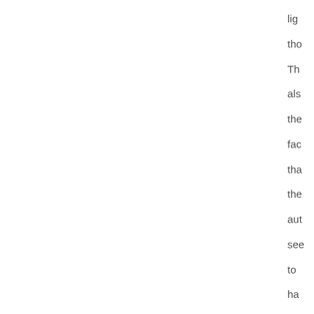lig tho Th als the fac tha the aut see to ha got wir of thi wh thir and are goi to be loo to